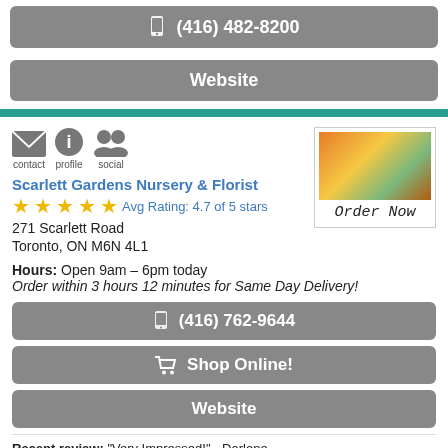(416) 482-8200
Website
contact  profile  social
Scarlett Gardens Nursery & Florist
Avg Rating: 4.7 of 5 stars
271 Scarlett Road
Toronto, ON M6N 4L1
Hours: Open 9am – 6pm today
Order within 3 hours 12 minutes for Same Day Delivery!
[Figure (photo): Floral arrangement photo with text 'Order Now']
(416) 762-9644
Shop Online!
Website
Recent review: "Very Impressed!" - Darlene